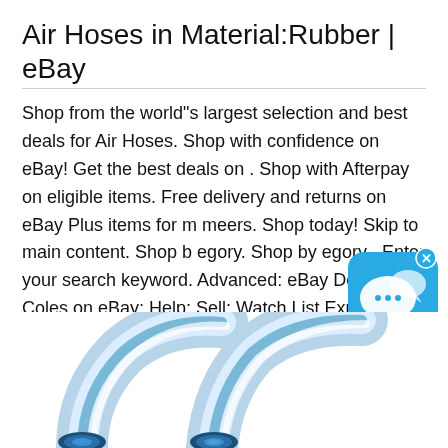Air Hoses in Material:Rubber | eBay
Shop from the world"s largest selection and best deals for Air Hoses. Shop with confidence on eBay! Get the best deals on . Shop with Afterpay on eligible items. Free delivery and returns on eBay Plus items for m meers. Shop today! Skip to main content. Shop b egory. Shop by egory . Enter your search keyword. Advanced: eBay Deals; Coles on eBay; Help; Sell; Watch List Expand Watch
[Figure (photo): Two transparent blue-tinted clear rubber/plastic air hoses shown from above, curved, with circular cross-sections visible at the bottom]
[Figure (illustration): Blue chat bubble overlay icon with speech bubbles]
[Figure (other): Dark scroll-to-top button with double chevron arrow]